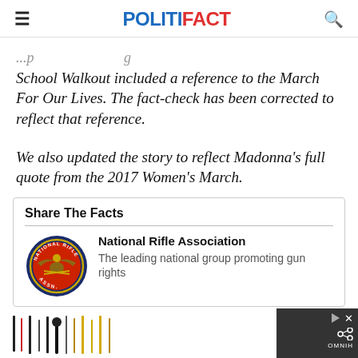POLITIFACT
School Walkout included a reference to the March For Our Lives. The fact-check has been corrected to reflect that reference.
We also updated the story to reflect Madonna's full quote from the 2017 Women's March.
Share The Facts
National Rifle Association
The leading national group promoting gun rights